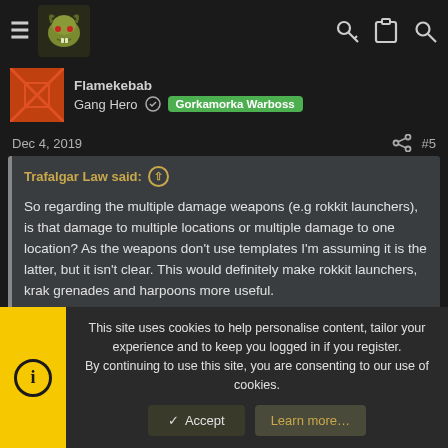Forum navigation header with hamburger menu, site logo, key icon, clipboard icon, search icon
Flamekebab
Gang Hero  Gorkamorka Warboss
Dec 4, 2019  #5
Trafalgar Law said: ↑

So regarding the multiple damage weapons (e.g rokkit launchers), is that damage to multiple locations or multiple damage to one location? As the weapons don't use templates I'm assuming it is the latter, but it isn't clear. This would definitely make rokkit launchers, krak grenades and harpoons more useful.
This site uses cookies to help personalise content, tailor your experience and to keep you logged in if you register.
By continuing to use this site, you are consenting to our use of cookies.
Accept  Learn more...